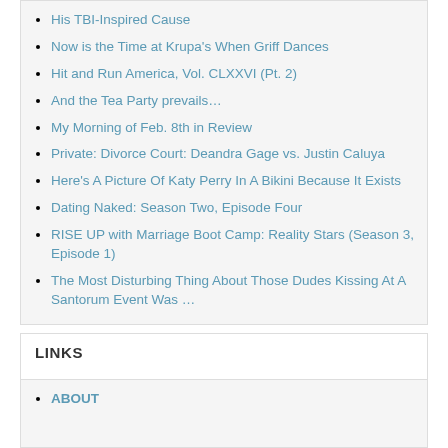His TBI-Inspired Cause
Now is the Time at Krupa's When Griff Dances
Hit and Run America, Vol. CLXXVI (Pt. 2)
And the Tea Party prevails…
My Morning of Feb. 8th in Review
Private: Divorce Court: Deandra Gage vs. Justin Caluya
Here's A Picture Of Katy Perry In A Bikini Because It Exists
Dating Naked: Season Two, Episode Four
RISE UP with Marriage Boot Camp: Reality Stars (Season 3, Episode 1)
The Most Disturbing Thing About Those Dudes Kissing At A Santorum Event Was …
LINKS
ABOUT